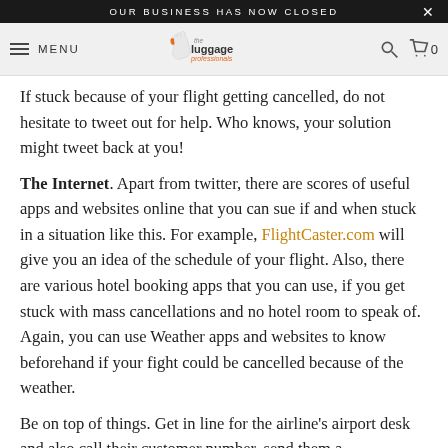OUR BUSINESS HAS NOW CLOSED
MENU — The Luggage Professionals — Search — Cart 0
If stuck because of your flight getting cancelled, do not hesitate to tweet out for help. Who knows, your solution might tweet back at you!
The Internet. Apart from twitter, there are scores of useful apps and websites online that you can sue if and when stuck in a situation like this. For example, FlightCaster.com will give you an idea of the schedule of your flight. Also, there are various hotel booking apps that you can use, if you get stuck with mass cancellations and no hotel room to speak of. Again, you can use Weather apps and websites to know beforehand if your fight could be cancelled because of the weather.
Be on top of things. Get in line for the airline's airport desk and also call their customer number, send them a